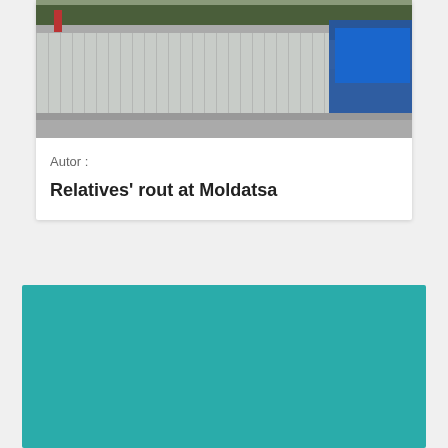[Figure (photo): Photograph of an airport building exterior, likely Moldatsa airport. The image shows a long low-rise terminal building with vertical facade elements, trees in the background, a red chimney or tower on the left, and a blue building on the right.]
Autor :
Relatives' rout at Moldatsa
[Figure (other): Solid teal/turquoise colored rectangle block, lower portion of a card or image placeholder]